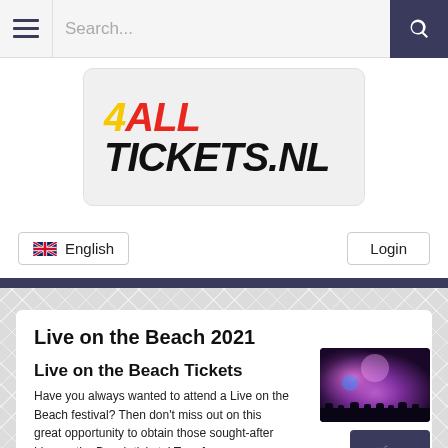Search...
[Figure (logo): 4ALL TICKETS.NL logo with yellow 4, red ALL, black TICKETS.NL on light grey rounded rectangle background]
English
Login
Live on the Beach 2021
Live on the Beach Tickets
Have you always wanted to attend a Live on the Beach festival? Then don't miss out on this great opportunity to obtain those sought-after Live on the Beach tickets! True fans pay attention, because another Live on the Beach Schijndel
[Figure (photo): Festival crowd with purple/pink fireworks and stage lighting at night]
[Figure (other): Shopping cart icon with (0) on dark navy background]